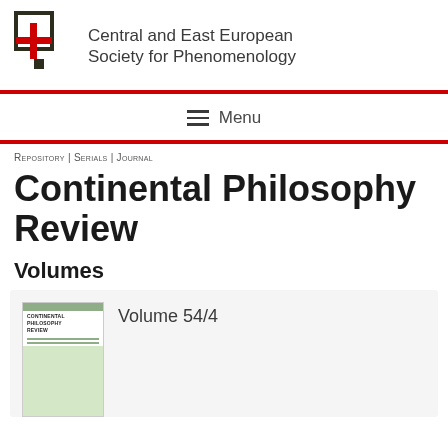Central and East European Society for Phenomenology
Menu
Repository | Serials | Journal
Continental Philosophy Review
Volumes
[Figure (other): Journal cover thumbnail for Continental Philosophy Review]
Volume 54/4